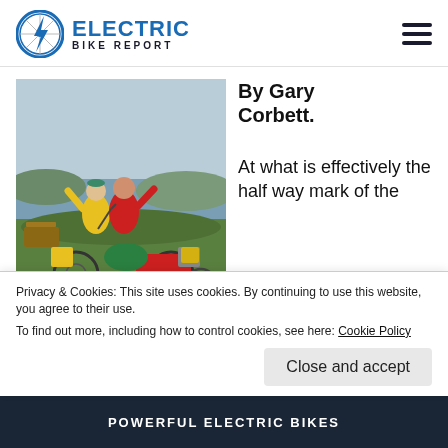ELECTRIC BIKE REPORT
[Figure (photo): Two cyclists in colorful jackets (yellow and red) raising hands at a coastal scenic viewpoint, with loaded touring bikes and trailers, green landscape and sea in background.]
By Gary Corbett.
At what is effectively the half way mark of the
Privacy & Cookies: This site uses cookies. By continuing to use this website, you agree to their use.
To find out more, including how to control cookies, see here: Cookie Policy
Close and accept
POWERFUL ELECTRIC BIKES